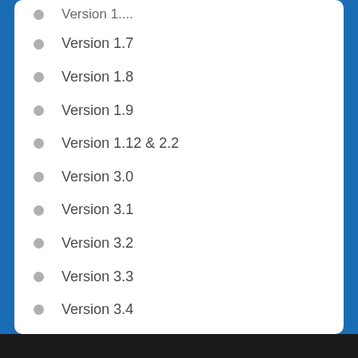Version 1.7
Version 1.8
Version 1.9
Version 1.12 & 2.2
Version 3.0
Version 3.1
Version 3.2
Version 3.3
Version 3.4
Version 3.5